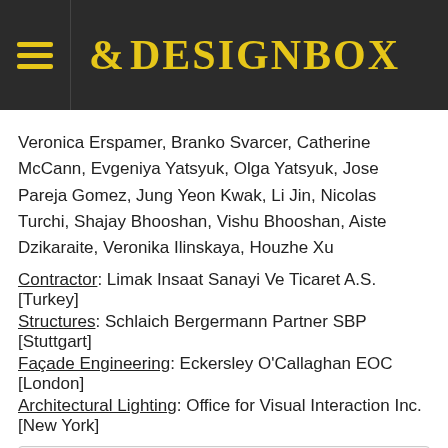8DESIGNBOX
Veronica Erspamer, Branko Svarcer, Catherine McCann, Evgeniya Yatsyuk, Olga Yatsyuk, Jose Pareja Gomez, Jung Yeon Kwak, Li Jin, Nicolas Turchi, Shajay Bhooshan, Vishu Bhooshan, Aiste Dzikaraite, Veronika Ilinskaya, Houzhe Xu
Contractor: Limak Insaat Sanayi Ve Ticaret A.S. [Turkey]
Structures: Schlaich Bergermann Partner SBP [Stuttgart]
Façade Engineering: Eckersley O'Callaghan EOC [London]
Architectural Lighting: Office for Visual Interaction Inc. [New York]
♥ You like this post! Share it to everybody!
Shop Now